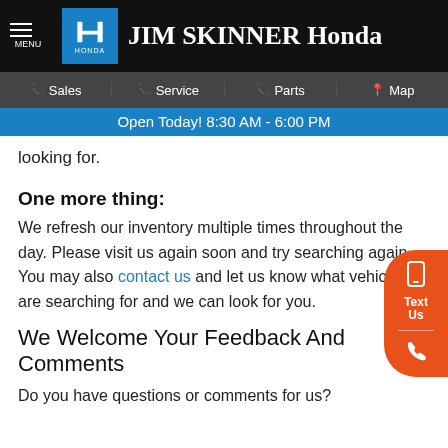JIM SKINNER Honda — MENU | Sales | Service | Parts | Map | Open Today! 8:30 AM - 6:00 PM
looking for.
One more thing:
We refresh our inventory multiple times throughout the day. Please visit us again soon and try searching again. You may also contact us and let us know what vehicle you are searching for and we can look for you.
We Welcome Your Feedback And Comments
Do you have questions or comments for us?